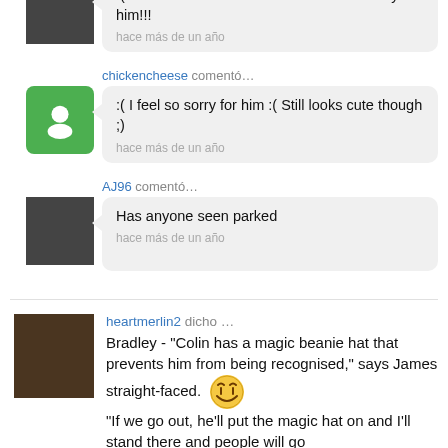gets beat up really bad.... There is blood all over his face
publicado hace más de un año
heartmerlin2 comentó…
:( Poor Colin! It's kinda hard to not feel sorry for him!!!
hace más de un año
chickencheese comentó…
:( I feel so sorry for him :( Still looks cute though ;)
hace más de un año
AJ96 comentó…
Has anyone seen parked
hace más de un año
heartmerlin2 dicho …
Bradley - "Colin has a magic beanie hat that prevents him from being recognised," says James straight-faced. "If we go out, he'll put the magic hat on and I'll stand there and people will go